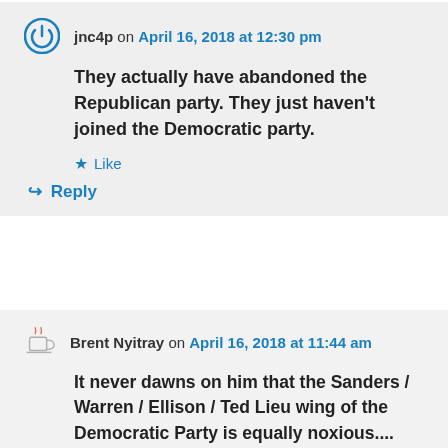jnc4p on April 16, 2018 at 12:30 pm
They actually have abandoned the Republican party. They just haven't joined the Democratic party.
Like
Reply
Brent Nyitray on April 16, 2018 at 11:44 am
It never dawns on him that the Sanders / Warren / Ellison / Ted Lieu wing of the Democratic Party is equally noxious....